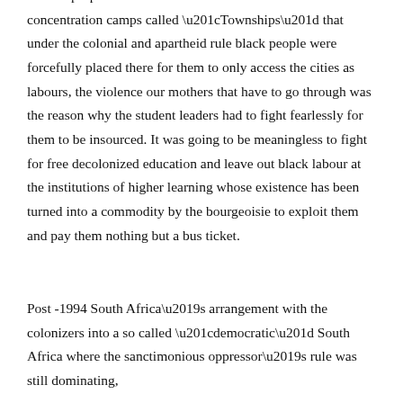and the proper income to make ends meet. We know the concentration camps called “Townships” that under the colonial and apartheid rule black people were forcefully placed there for them to only access the cities as labours, the violence our mothers that have to go through was the reason why the student leaders had to fight fearlessly for them to be insourced. It was going to be meaningless to fight for free decolonized education and leave out black labour at the institutions of higher learning whose existence has been turned into a commodity by the bourgeoisie to exploit them and pay them nothing but a bus ticket.
Post -1994 South Africa’s arrangement with the colonizers into a so called “democratic” South Africa where the sanctimonious oppressor’s rule was still dominating,